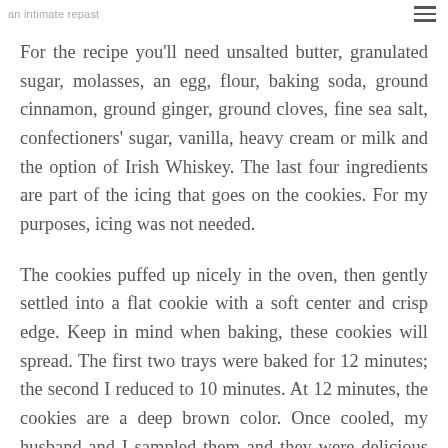an intimate repast
For the recipe you'll need unsalted butter, granulated sugar, molasses, an egg, flour, baking soda, ground cinnamon, ground ginger, ground cloves, fine sea salt, confectioners' sugar, vanilla, heavy cream or milk and the option of Irish Whiskey. The last four ingredients are part of the icing that goes on the cookies. For my purposes, icing was not needed.
The cookies puffed up nicely in the oven, then gently settled into a flat cookie with a soft center and crisp edge. Keep in mind when baking, these cookies will spread. The first two trays were baked for 12 minutes; the second I reduced to 10 minutes. At 12 minutes, the cookies are a deep brown color. Once cooled, my husband and I sampled them and they were delicious and not overly sweet. The cookies are sturdy enough to stand “the dunk test.” Also, one cook posted that she